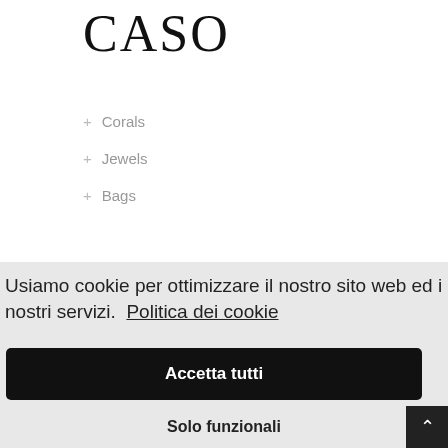[Figure (logo): CASO brand logo in serif font]
+ Corals
+ Jewels
+ Bags
Usiamo cookie per ottimizzare il nostro sito web ed i nostri servizi. Politica dei cookie
Accetta tutti
Solo funzionali
Visualizza preference